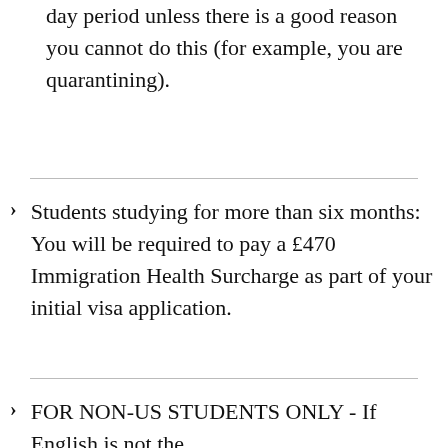day period unless there is a good reason you cannot do this (for example, you are quarantining).
Students studying for more than six months: You will be required to pay a £470 Immigration Health Surcharge as part of your initial visa application.
FOR NON-US STUDENTS ONLY - If English is not the